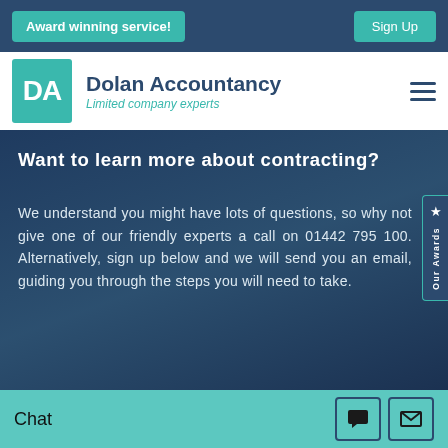Award winning service! Sign Up
[Figure (logo): Dolan Accountancy logo with DA initials in teal box]
Dolan Accountancy
Limited company experts
Want to learn more about contracting?
We understand you might have lots of questions, so why not give one of our friendly experts a call on 01442 795 100. Alternatively, sign up below and we will send you an email, guiding you through the steps you will need to take.
Our Awards
Chat